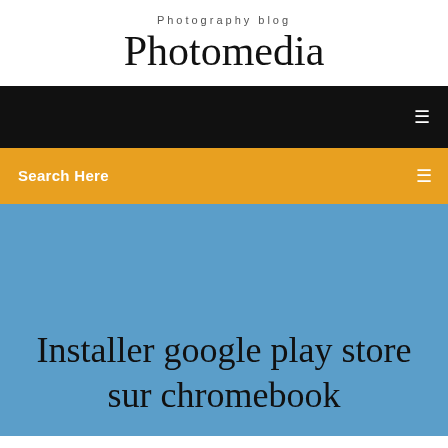Photography blog
Photomedia
[Figure (screenshot): Black navigation bar with a white menu icon on the right]
Search Here
Installer google play store sur chromebook